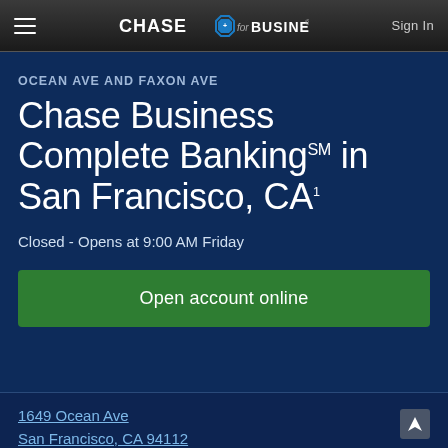CHASE for BUSINESS® | Sign In
OCEAN AVE AND FAXON AVE
Chase Business Complete Banking℠ in San Francisco, CA¹
Closed - Opens at 9:00 AM Friday
Open account online
1649 Ocean Ave
San Francisco, CA 94112